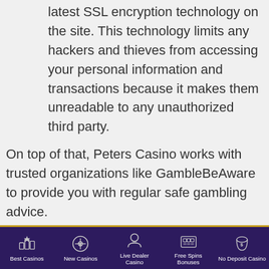latest SSL encryption technology on the site. This technology limits any hackers and thieves from accessing your personal information and transactions because it makes them unreadable to any unauthorized third party.
On top of that, Peters Casino works with trusted organizations like GambleBeAware to provide you with regular safe gambling advice.
Peters Casino Summary
Peters Casino is home to lots of promotions and bonus offers for all players on top of its other offers.
Best Casinos | New Casinos | Live Dealer Casino | Free Spins Bonuses | No Deposit Casino